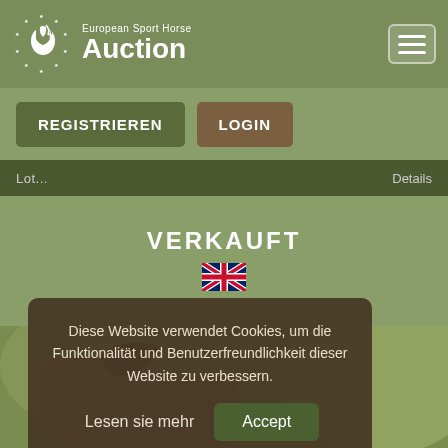[Figure (logo): European Sport Horse Auction logo: white horse head with stars in a circle on olive green background, with text 'European Sport Horse Auction']
[Figure (screenshot): Hamburger menu button (three horizontal lines) in top right corner]
REGISTRIEREN
LOGIN
VERKAUFT
[Figure (illustration): UK / British flag emoji icon]
Diese Website verwendet Cookies, um die Funktionalität und Benutzerfreundlichkeit dieser Website zu verbessern.
Lesen sie mehr
Accept
[Figure (photo): Partial photo of a horse (brown/chestnut) in outdoor setting with green foliage background, visible at bottom of page]